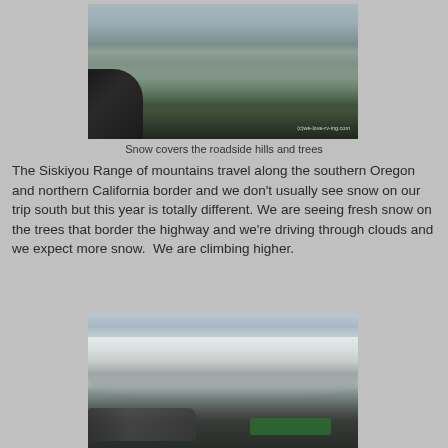[Figure (photo): Photo taken from inside an RV showing a car side mirror, with snow-covered roadside hills and trees visible through the windshield. Watermark reads (c)we-love-rv-ing.com]
Snow covers the roadside hills and trees
The Siskiyou Range of mountains travel along the southern Oregon and northern California border and we don't usually see snow on our trip south but this year is totally different. We are seeing fresh snow on the trees that border the highway and we're driving through clouds and we expect more snow.  We are climbing higher.
[Figure (photo): Photo of a snow-covered highway with large snow banks on the roadside, vehicles ahead on the road, and a green highway sign visible in the distance.]